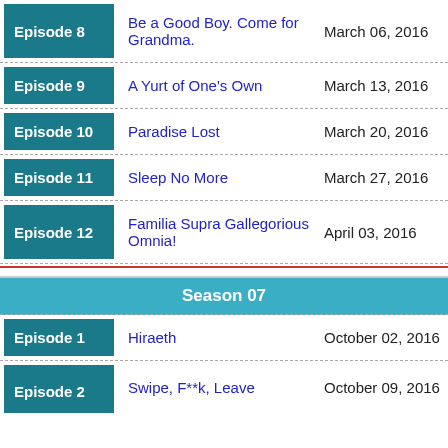| Episode | Title | Date |
| --- | --- | --- |
| Episode 8 | Be a Good Boy. Come for Grandma. | March 06, 2016 |
| Episode 9 | A Yurt of One's Own | March 13, 2016 |
| Episode 10 | Paradise Lost | March 20, 2016 |
| Episode 11 | Sleep No More | March 27, 2016 |
| Episode 12 | Familia Supra Gallegorious Omnia! | April 03, 2016 |
Season 07
| Episode | Title | Date |
| --- | --- | --- |
| Episode 1 | Hiraeth | October 02, 2016 |
| Episode 2 | Swipe, F**k, Leave | October 09, 2016 |